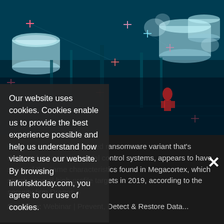[Figure (photo): Aerial view of an industrial facility (oil refinery/power plant) with cyan/blue tint and red/pink crosshair markers overlaid, suggesting cybersecurity threat visualization.]
Our website uses cookies. Cookies enable us to provide the best experience possible and help us understand how visitors use our website. By browsing inforisktoday.com, you agree to our use of cookies.
Ekans, a recently discovered ransomware variant that's designed to target industrial control systems, appears to have some of the same characteristics found in Megacortex, which struck several high-profile targets in 2019, according to the security firm Dragos.
See Also: Webinar | Prevent, Detect & Restore Data...